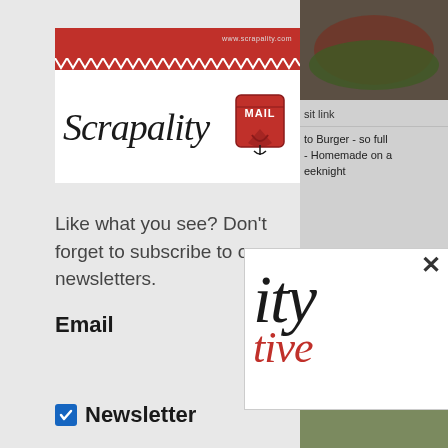[Figure (logo): Scrapality newsletter logo with red header bar, zigzag edge, cursive Scrapality text and red mail icon]
Like what you see?  Don't forget to subscribe to our newsletters.
Email
Newsletter
[Figure (photo): Food photo of a burger with green salad, partially visible on right side]
sit link
to Burger - so full - Homemade on a eeknight
[Figure (photo): Food photo partially visible bottom right]
sit link
ned Corn Pasta - e on a Weeknight
[Figure (logo): Popup overlay showing partial Scrapality logo with 'ity' and 'tive' in red text, with X close button]